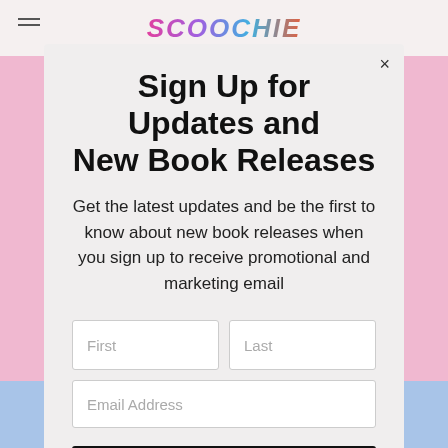SCOOCHIE
Sign Up for Updates and New Book Releases
Get the latest updates and be the first to know about new book releases when you sign up to receive promotional and marketing email
First | Last | Email Address | Subscribe
POWERED BY weebly